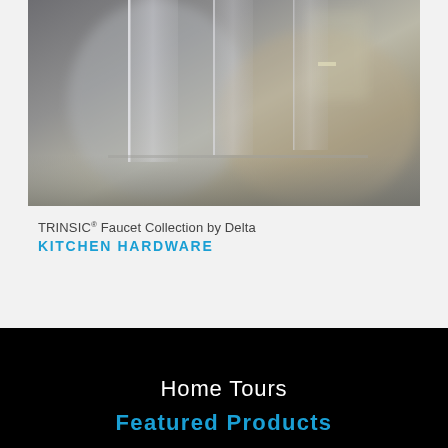[Figure (photo): Blurred interior photo showing glass shower enclosure or bathroom fixture with soft focus, gray and beige tones]
TRINSIC® Faucet Collection by Delta
KITCHEN HARDWARE
Home Tours
Featured Products